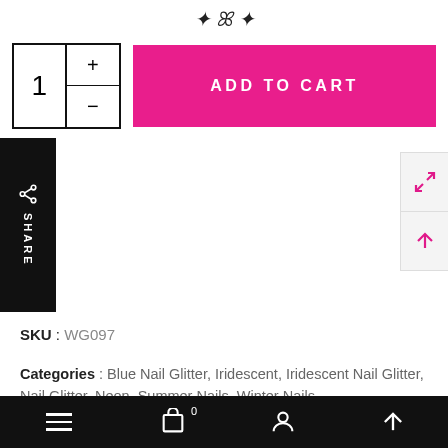[Figure (logo): Decorative script logo at top of page]
[Figure (other): Quantity selector box with number 1, plus and minus buttons, and pink ADD TO CART button]
[Figure (other): Black vertical SHARE sidebar button with share icon on left edge]
[Figure (other): Pink expand/external-link icon and pink up-arrow icon on right edge]
SKU :  WG097
Categories :  Blue Nail Glitter, Iridescent, Iridescent Nail Glitter, Nail Glitter, Neon, Summer Nails, Winter Nails
Do You Offer Free Shipping?
Yes we offer Free shipping on all Domestic (UK) orders
[Figure (screenshot): Black bottom navigation bar with hamburger menu, cart with badge 0, user icon, and up arrow icon]